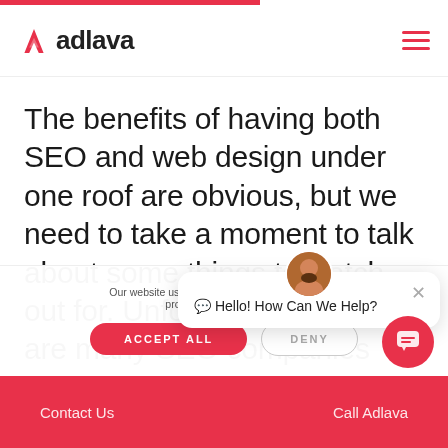adlava
The benefits of having both SEO and web design under one roof are obvious, but we need to take a moment to talk about some things to watch out for. Unfortunately, there are many SEO companies that offer “web design”
Our website uses cookies… provide a good experie…
💬 Hello! How Can We Help?
Contact Us   Call Adlava